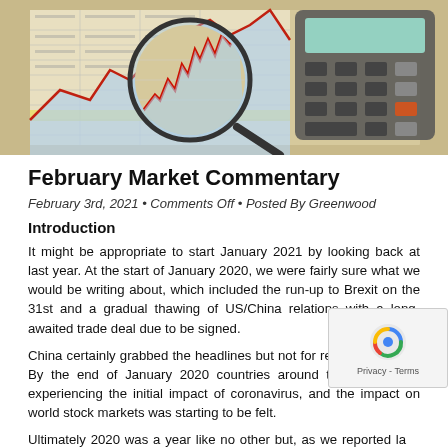[Figure (photo): Hero image showing a magnifying glass over financial charts with a calculator in the background]
February Market Commentary
February 3rd, 2021 • Comments Off • Posted By Greenwood
Introduction
It might be appropriate to start January 2021 by looking back at last year. At the start of January 2020, we were fairly sure what we would be writing about, which included the run-up to Brexit on the 31st and a gradual thawing of US/China relations with a long-awaited trade deal due to be signed.
China certainly grabbed the headlines but not for reasons of trade. By the end of January 2020 countries around the world were experiencing the initial impact of coronavirus, and the impact on world stock markets was starting to be felt.
Ultimately 2020 was a year like no other but, as we reported la… the majority of stock markets actually made gains in the year.
So what did January 2021 bring us? The roll-out of more vaccines finally…